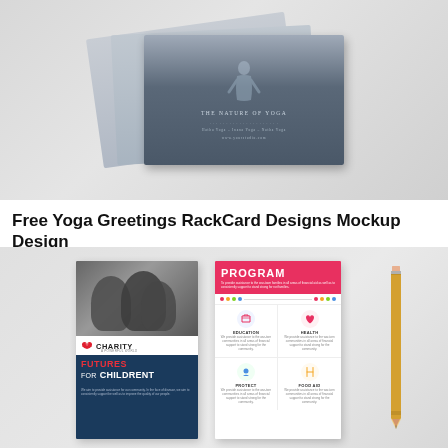[Figure (photo): Mockup photo of stacked yoga greeting rack cards with misty nature background and 'The Nature of Yoga' text visible on the front card, shown on a light gray surface]
Free Yoga Greetings RackCard Designs Mockup Design
[Figure (photo): Mockup photo showing two charity rack cards side by side with a pencil. Left card features 'CHARITY – A Powerful World' logo, black-and-white photo of children, and 'FUTURES FOR CHILDRENT' text in red/white on dark blue background. Right card shows 'PROGRAM' header in pink/magenta with a grid layout featuring Education, Health, Protect, and Food Aid sections with icons. Cards placed on a light gray surface.]